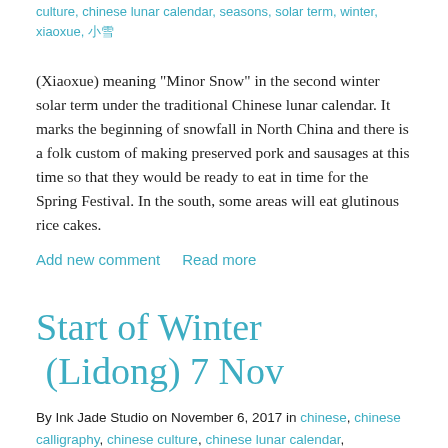culture, chinese lunar calendar, seasons, solar term, winter, xiaoxue, 小雪
(Xiaoxue) meaning "Minor Snow" in the second winter solar term under the traditional Chinese lunar calendar. It marks the beginning of snowfall in North China and there is a folk custom of making preserved pork and sausages at this time so that they would be ready to eat in time for the Spring Festival. In the south, some areas will eat glutinous rice cakes.
Add new comment    Read more
Start of Winter  (Lidong) 7 Nov
By Ink Jade Studio on November 6, 2017 in chinese, chinese calligraphy, chinese culture, chinese lunar calendar, dumplings, jiaozi, season, shimmery ink, solar term, winter